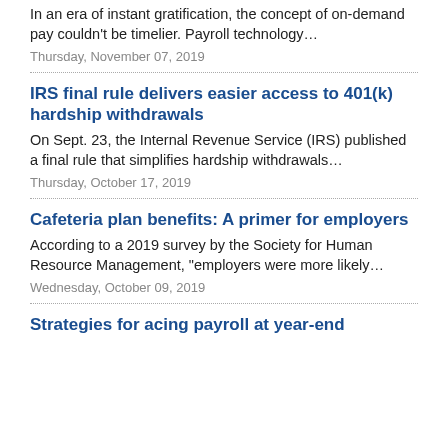In an era of instant gratification, the concept of on-demand pay couldn't be timelier. Payroll technology…
Thursday, November 07, 2019
IRS final rule delivers easier access to 401(k) hardship withdrawals
On Sept. 23, the Internal Revenue Service (IRS) published a final rule that simplifies hardship withdrawals…
Thursday, October 17, 2019
Cafeteria plan benefits: A primer for employers
According to a 2019 survey by the Society for Human Resource Management, "employers were more likely…
Wednesday, October 09, 2019
Strategies for acing payroll at year-end